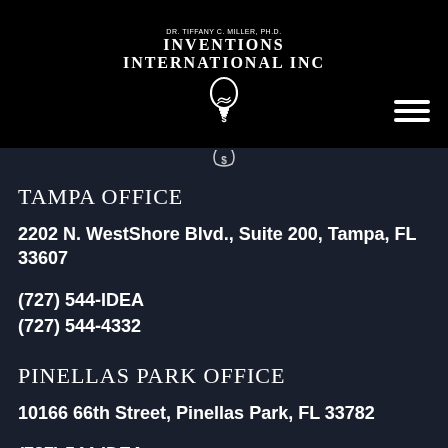[Figure (logo): Dr. Tiffany C. Miller, Ph.D. Inventions International Inc logo with lightbulb graphic in white on black background]
TAMPA OFFICE
2202 N. WestShore Blvd., Suite 200, Tampa, FL 33607
(727) 544-IDEA
(727) 544-4332
PINELLAS PARK OFFICE
10166 66th Street, Pinellas Park, FL 33782
(727) 544-IDEA